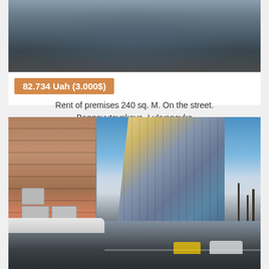[Figure (photo): Top portion of a street/wet pavement photo, partially cropped]
82.734 Uah (3.000$)
Rent of premises 240 sq. M. On the street. Baggovutovskaya, Lukyanovka
[Figure (photo): Street-level photo showing an old Soviet-era building with red lower facade on the left with AC units, a modern glass skyscraper in the center-right, a wide road with cars, bare winter trees, snow on the sidewalk, and a clear blue sky]